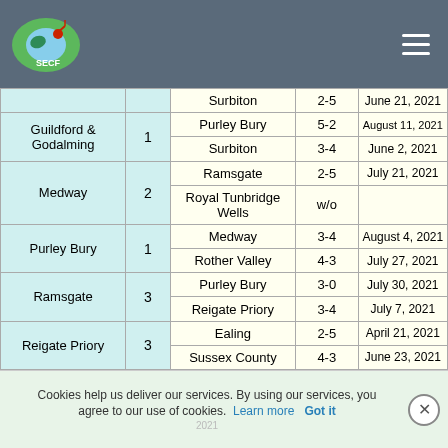SECF logo and navigation header
| Club | Num | Opponent | Score | Date |
| --- | --- | --- | --- | --- |
|  |  | Surbiton | 2-5 | June 21, 2021 |
| Guildford & Godalming | 1 | Purley Bury | 5-2 | August 11, 2021 |
| Guildford & Godalming | 1 | Surbiton | 3-4 | June 2, 2021 |
| Medway | 2 | Ramsgate | 2-5 | July 21, 2021 |
| Medway | 2 | Royal Tunbridge Wells | w/o |  |
| Purley Bury | 1 | Medway | 3-4 | August 4, 2021 |
| Purley Bury | 1 | Rother Valley | 4-3 | July 27, 2021 |
| Ramsgate | 3 | Purley Bury | 3-0 | July 30, 2021 |
| Ramsgate | 3 | Reigate Priory | 3-4 | July 7, 2021 |
| Reigate Priory | 3 | Ealing | 2-5 | April 21, 2021 |
| Reigate Priory | 3 | Sussex County | 4-3 | June 23, 2021 |
Cookies help us deliver our services. By using our services, you agree to our use of cookies. Learn more  Got it